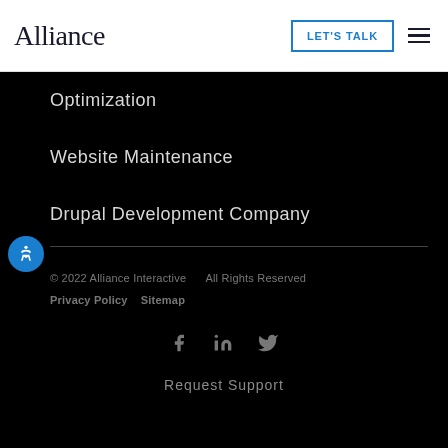Alliance   LET'S TALK
Optimization
Website Maintenance
Drupal Development Company
© 2022 Alliance Interactive   All Rights Reserved   Privacy Policy   Sitemap
Social icons: f  in  Twitter
Request Support